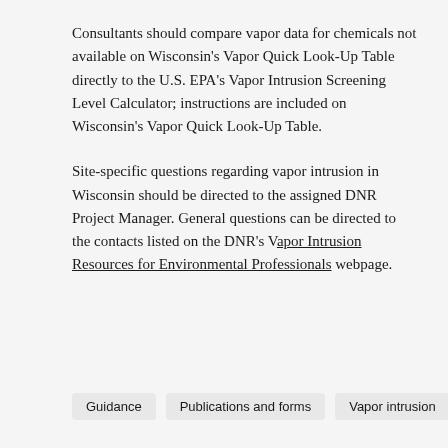Consultants should compare vapor data for chemicals not available on Wisconsin's Vapor Quick Look-Up Table directly to the U.S. EPA's Vapor Intrusion Screening Level Calculator; instructions are included on Wisconsin's Vapor Quick Look-Up Table.
Site-specific questions regarding vapor intrusion in Wisconsin should be directed to the assigned DNR Project Manager. General questions can be directed to the contacts listed on the DNR's Vapor Intrusion Resources for Environmental Professionals webpage.
Guidance
Publications and forms
Vapor intrusion